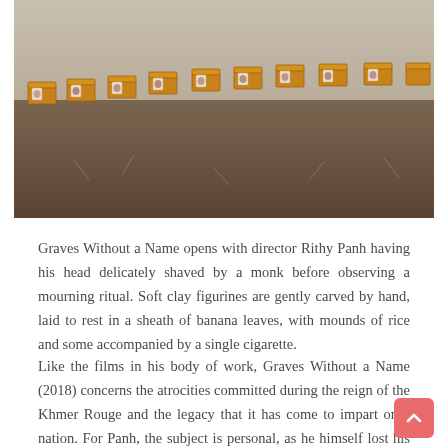[Figure (photo): Photograph of a row of small wooden coffin-like boxes arranged in a line on bare earth, each with a small portrait photo attached to the front.]
Graves Without a Name opens with director Rithy Panh having his head delicately shaved by a monk before observing a mourning ritual. Soft clay figurines are gently carved by hand, laid to rest in a sheath of banana leaves, with mounds of rice and some accompanied by a single cigarette.
Like the films in his body of work, Graves Without a Name (2018) concerns the atrocities committed during the reign of the Khmer Rouge and the legacy that it has come to impart on a nation. For Panh, the subject is personal, as he himself lost his father, mother, sisters, and other relatives during